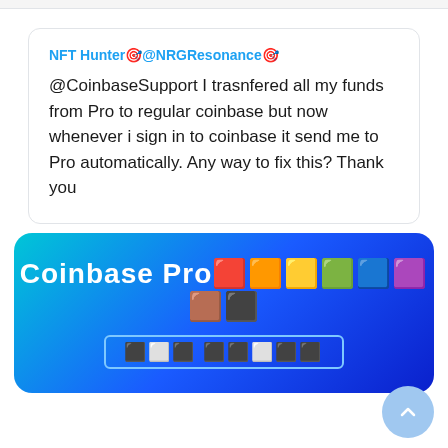NFT Hunter🎯@NRGResonance🎯
@CoinbaseSupport I trasnfered all my funds from Pro to regular coinbase but now whenever i sign in to coinbase it send me to Pro automatically. Any way to fix this? Thank you
[Figure (infographic): Blue gradient banner with text 'Coinbase Pro' followed by emoji squares, and a subtitle with box border containing emoji squares]